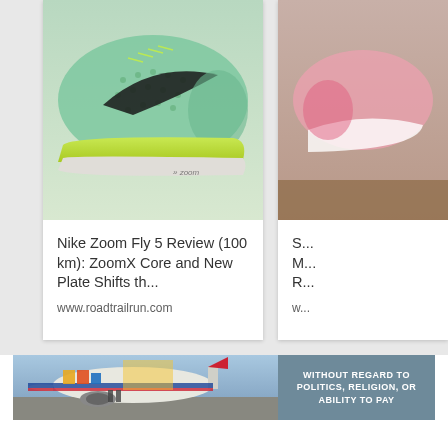[Figure (photo): Nike Zoom Fly 5 running shoe closeup showing ZoomX midsole with yellow-green color and black swoosh, product card with image at top]
Nike Zoom Fly 5 Review (100 km): ZoomX Core and New Plate Shifts th...
www.roadtrailrun.com
[Figure (photo): Partial view of a second shoe product card with pink/white shoe on brown surface, partially cropped at right edge]
S... M... R...
w...
[Figure (photo): Advertisement banner showing airplane being loaded with cargo, Southwest Airlines livery visible. Text overlay reads WITHOUT REGARD TO POLITICS, RELIGION, OR ABILITY TO PAY]
WITHOUT REGARD TO POLITICS, RELIGION, OR ABILITY TO PAY